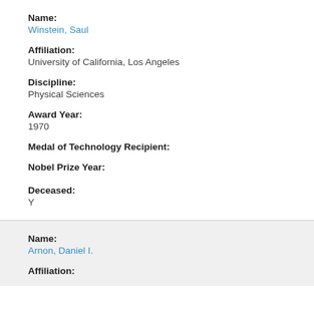Name:
Winstein, Saul
Affiliation:
University of California, Los Angeles
Discipline:
Physical Sciences
Award Year:
1970
Medal of Technology Recipient:
Nobel Prize Year:
Deceased:
Y
Name:
Arnon, Daniel I.
Affiliation: